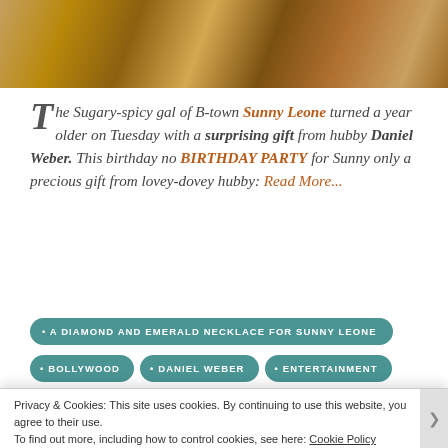[Figure (photo): Cropped photo showing glittery/sparkly fabric or clothing in gold and bronze tones]
The Sugary-spicy gal of B-town Sunny Leone turned a year older on Tuesday with a surprising gift from hubby Daniel Weber. This birthday no BIRTHDAY PARTY for Sunny only a precious gift from lovey-dovey hubby: Read More...
A DIAMOND AND EMERALD NECKLACE FOR SUNNY LEONE
BOLLYWOOD
DANIEL WEBER
ENTERTAINMENT
Privacy & Cookies: This site uses cookies. By continuing to use this website, you agree to their use. To find out more, including how to control cookies, see here: Cookie Policy
Close and accept